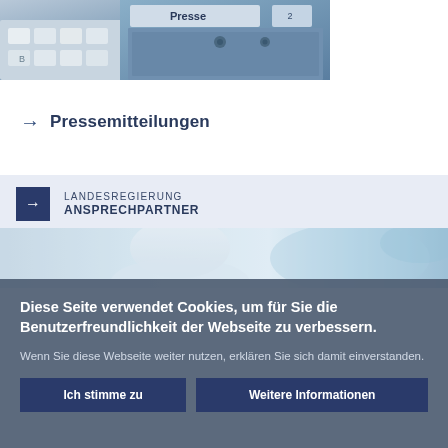[Figure (photo): Close-up photo of keyboard and file folders with 'Presse' label visible, in blue-grey tones]
→ Pressemitteilungen
LANDESREGIERUNG ANSPRECHPARTNER
[Figure (photo): Blurred photo of person in white coat, light blue and teal tones]
Diese Seite verwendet Cookies, um für Sie die Benutzerfreundlichkeit der Webseite zu verbessern.
Wenn Sie diese Webseite weiter nutzen, erklären Sie sich damit einverstanden.
Ich stimme zu
Weitere Informationen